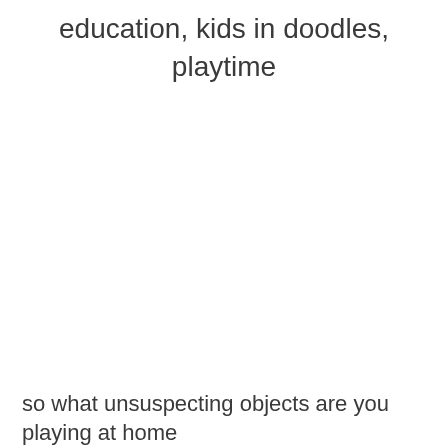education, kids in doodles,
playtime
so what unsuspecting objects are you playing at home